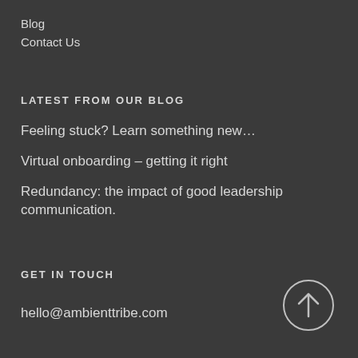Blog
Contact Us
LATEST FROM OUR BLOG
Feeling stuck? Learn something new…
Virtual onboarding – getting it right
Redundancy: the impact of good leadership communication.
GET IN TOUCH
hello@ambienttribe.com
[Figure (illustration): Circular back-to-top arrow button with upward arrow icon, grey outline on dark background]